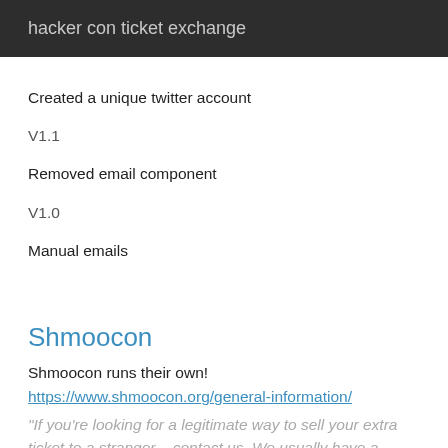hacker con ticket exchange
Created a unique twitter account
V1.1
Removed email component
V1.0
Manual emails
Shmoocon
Shmoocon runs their own!
https://www.shmoocon.org/general-information/
"If you're looking for a legitimate way to sell your extra ticket to a stranger – contact us. We usually have a waiting list and